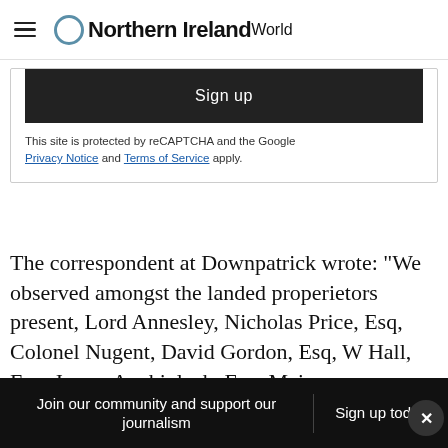Northern Ireland World
Sign up
This site is protected by reCAPTCHA and the Google Privacy Notice and Terms of Service apply.
The correspondent at Downpatrick wrote: “We observed amongst the landed properietors present, Lord Annesley, Nicholas Price, Esq, Colonel Nugent, David Gordon, Esq, W Hall, Esq, James Auchinleck, Esq, Major
Join our community and support our journalism   Sign up today